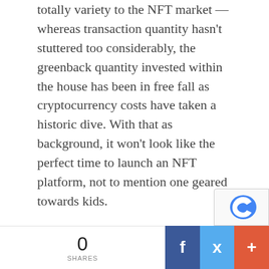totally variety to the NFT market — whereas transaction quantity hasn't stuttered too considerably, the greenback quantity invested within the house has been in free fall as cryptocurrency costs have taken a historic dive. With that as background, it won't look like the perfect time to launch an NFT platform, not to mention one geared towards kids.
And but, NFT startup Cryptoys is elevating tens of tens of millions of {dollars} with the purpose of constructing a blockchain-based toy firm that may expose youthful customers to the concepts of digital possession and NFT mechanics. The platform, which is able to launch broadly within the subsequent couple months, options cutesy big-eyed animal characters with hats, sun shades and
0 SHARES | Facebook | Twitter | +